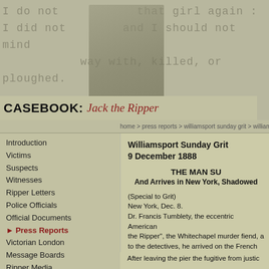[Figure (illustration): Header banner with faded manuscript text and portrait of a Victorian-era man in the background on a khaki/olive colored background]
CASEBOOK: Jack the Ripper
home > press reports > williamsport sunday grit > williams
Introduction
Victims
Suspects
Witnesses
Ripper Letters
Police Officials
Official Documents
Press Reports
Victorian London
Message Boards
Ripper Media
Authors
Dissertations
Timelines
Games & Diversions
Photo Archive
Ripper Wiki
Casebook Examiner
Ripper Podcast
About the Casebook
Williamsport Sunday Grit
9 December 1888
THE MAN SU
And Arrives in New York, Shadowed
(Special to Grit)
New York, Dec. 8.
Dr. Francis Tumblety, the eccentric American... the Ripper", the Whitechapel murder fiend, a... to the detectives, he arrived on the French... more reporters on the pier when he landed, ... on the pier, however, and as they had been p... a passenger on the steamer, they had no dif...
After leaving the pier the fugitive from justic